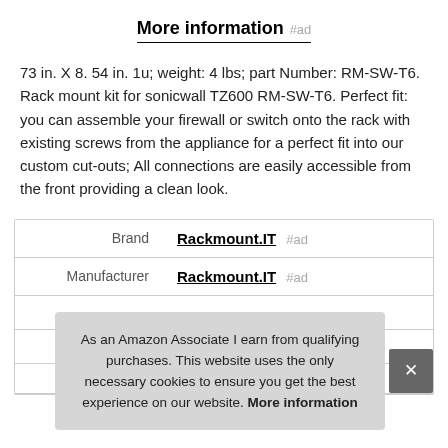More information #ad
73 in. X 8. 54 in. 1u; weight: 4 lbs; part Number: RM-SW-T6. Rack mount kit for sonicwall TZ600 RM-SW-T6. Perfect fit: you can assemble your firewall or switch onto the rack with existing screws from the appliance for a perfect fit into our custom cut-outs; All connections are easily accessible from the front providing a clean look.
|  |  |
| --- | --- |
| Brand | Rackmount.IT #ad |
| Manufacturer | Rackmount.IT #ad |
| Width | 8.5 Inches |
As an Amazon Associate I earn from qualifying purchases. This website uses the only necessary cookies to ensure you get the best experience on our website. More information